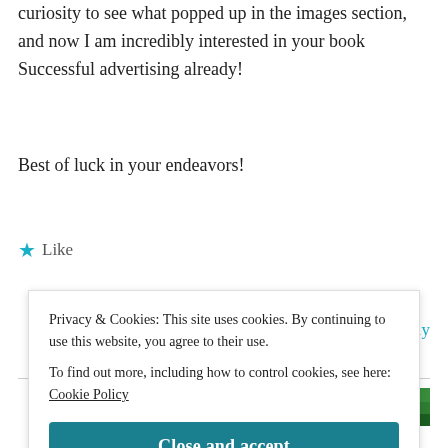curiosity to see what popped up in the images section, and now I am incredibly interested in your book Successful advertising already!
Best of luck in your endeavors!
★ Like
Reply
hannahkarena
Privacy & Cookies: This site uses cookies. By continuing to use this website, you agree to their use.
To find out more, including how to control cookies, see here: Cookie Policy
Close and accept